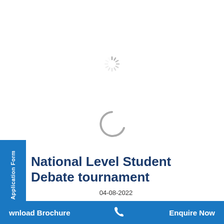[Figure (other): Small spinning loader icon (dashed radial lines) in gray, centered near top of page]
[Figure (other): Large spinning loader arc icon in gray, centered in middle of page]
National Level Student Debate tournament
04-08-2022
National Level Student Debate tournament by GD Goenka World School in association with
e Application Form
wnload Brochure  [phone icon]  Enquire Now